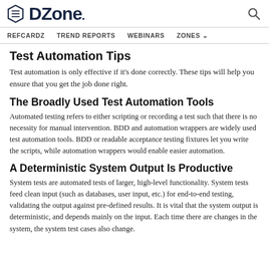DZone. [search icon]
REFCARDZ   TREND REPORTS   WEBINARS   ZONES
Test Automation Tips
Test automation is only effective if it's done correctly. These tips will help you ensure that you get the job done right.
The Broadly Used Test Automation Tools
Automated testing refers to either scripting or recording a test such that there is no necessity for manual intervention. BDD and automation wrappers are widely used test automation tools. BDD or readable acceptance testing fixtures let you write the scripts, while automation wrappers would enable easier automation.
A Deterministic System Output Is Productive
System tests are automated tests of larger, high-level functionality. System tests feed clean input (such as databases, user input, etc.) for end-to-end testing, validating the output against pre-defined results. It is vital that the system output is deterministic, and depends mainly on the input. Each time there are changes in the system, the system test cases also change.